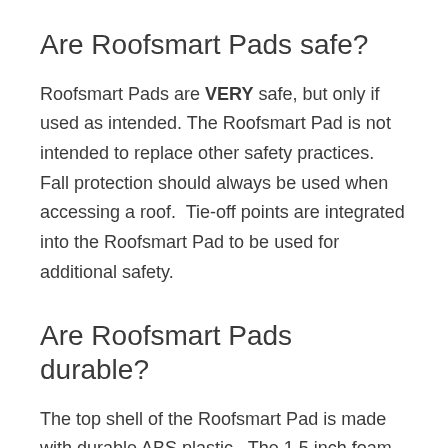Are Roofsmart Pads safe?
Roofsmart Pads are VERY safe, but only if used as intended. The Roofsmart Pad is not intended to replace other safety practices. Fall protection should always be used when accessing a roof.  Tie-off points are integrated into the Roofsmart Pad to be used for additional safety.
Are Roofsmart Pads durable?
The top shell of the Roofsmart Pad is made with durable ABS plastic.  The 1.5 inch foam pad that contacts the roof surface is thick enough to provide